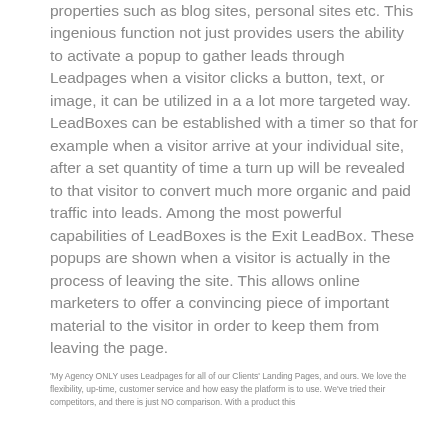properties such as blog sites, personal sites etc. This ingenious function not just provides users the ability to activate a popup to gather leads through Leadpages when a visitor clicks a button, text, or image, it can be utilized in a a lot more targeted way. LeadBoxes can be established with a timer so that for example when a visitor arrive at your individual site, after a set quantity of time a turn up will be revealed to that visitor to convert much more organic and paid traffic into leads. Among the most powerful capabilities of LeadBoxes is the Exit LeadBox. These popups are shown when a visitor is actually in the process of leaving the site. This allows online marketers to offer a convincing piece of important material to the visitor in order to keep them from leaving the page.
'My Agency ONLY uses Leadpages for all of our Clients' Landing Pages, and ours. We love the flexibility, up-time, customer service and how easy the platform is to use. We've tried their competitors, and there is just NO comparison. With a product this